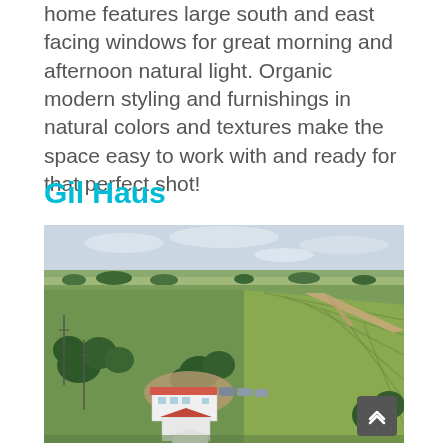home features large south and east facing windows for great morning and afternoon natural light. Organic modern styling and furnishings in natural colors and textures make the space easy to work with and ready for that perfect shot!
Gil Haus
[Figure (photo): Aerial drone photo of a rural farm property with a white house, red-roofed barn, white storage shed, surrounding trees, green fields, cornfields, and a winding dirt driveway. Cars are parked near the buildings. Flat plains landscape extends to the horizon under a partly cloudy sky.]